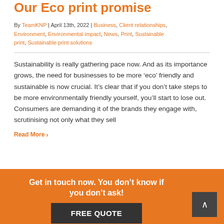Our Eco print promise
By TeamKNP | April 13th, 2022 | Business, Client relationships, Environment, Environmental impact, News, Print, Sustainable print, Sustainable print solutions
Sustainability is really gathering pace now. And as its importance grows, the need for businesses to be more ‘eco’ friendly and sustainable is now crucial. It’s clear that if you don’t take steps to be more environmentally friendly yourself, you’ll start to lose out. Consumers are demanding it of the brands they engage with, scrutinising not only what they sell
Read More >
Get in touch now. You don’t know if you don’t ask!
FREE QUOTE